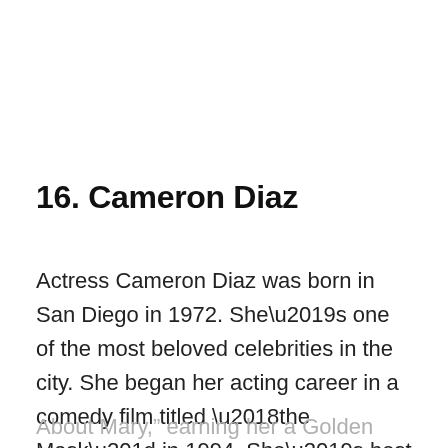16. Cameron Diaz
Actress Cameron Diaz was born in San Diego in 1972. She’s one of the most beloved celebrities in the city. She began her acting career in a comedy film titled ‘the Mask” in 1994. She’s best known for her starring role in “There’s Something About Mary,” earning her a Golden Globe